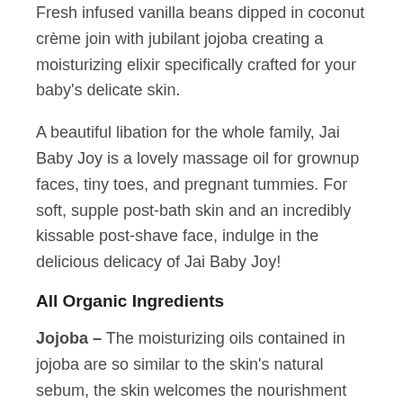Fresh infused vanilla beans dipped in coconut crème join with jubilant jojoba creating a moisturizing elixir specifically crafted for your baby's delicate skin.
A beautiful libation for the whole family, Jai Baby Joy is a lovely massage oil for grownup faces, tiny toes, and pregnant tummies. For soft, supple post-bath skin and an incredibly kissable post-shave face, indulge in the delicious delicacy of Jai Baby Joy!
All Organic Ingredients
Jojoba – The moisturizing oils contained in jojoba are so similar to the skin's natural sebum, the skin welcomes the nourishment with open arms. Jojoba sinks